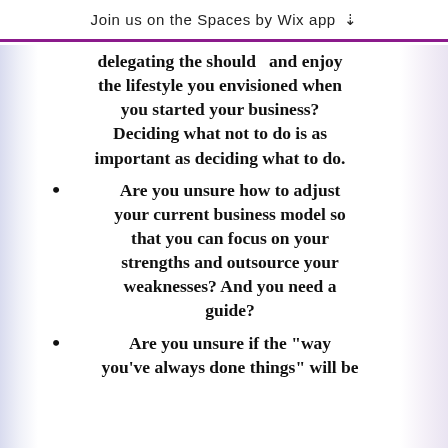Join us on the Spaces by Wix app
delegating the should  and enjoy the lifestyle you envisioned when you started your business? Deciding what not to do is as important as deciding what to do.
Are you unsure how to adjust your current business model so that you can focus on your strengths and outsource your weaknesses? And you need a guide?
Are you unsure if the "way you've always done things" will be